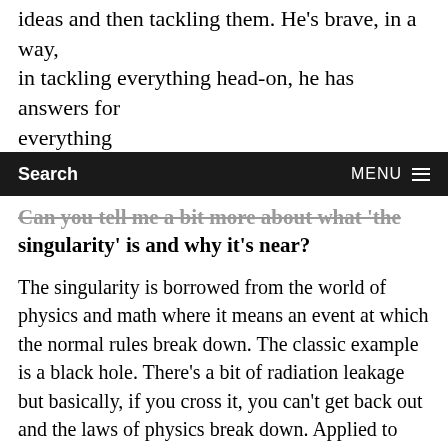ideas and then tackling them. He's brave, in a way, in tackling everything head-on, he has answers for everything
Search    MENU
Can you tell me a bit more about what 'the singularity' is and why it's near?
The singularity is borrowed from the world of physics and math where it means an event at which the normal rules break down. The classic example is a black hole. There's a bit of radiation leakage but basically, if you cross it, you can't get back out and the laws of physics break down. Applied to human affairs, the singularity is the idea that we will achieve some technological breakthrough. The usual one is AGI. The machine becomes as smart as humans and continues to improve and quickly becomes hundreds, thousands, millions of times smarter than the smartest human. That's the intelligence explosion. When you have an entity of